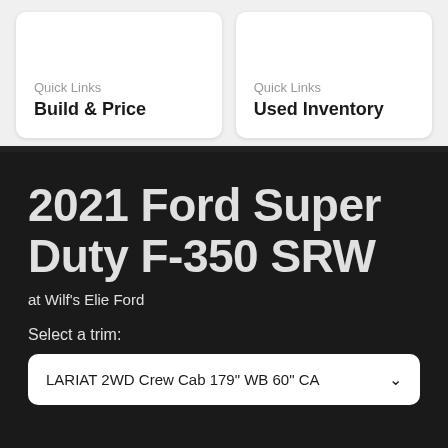Quick Links
Build & Price
Quick Links
Used Inventory
2021 Ford Super Duty F-350 SRW
at Wilf's Elie Ford
Select a trim:
LARIAT 2WD Crew Cab 179" WB 60" CA